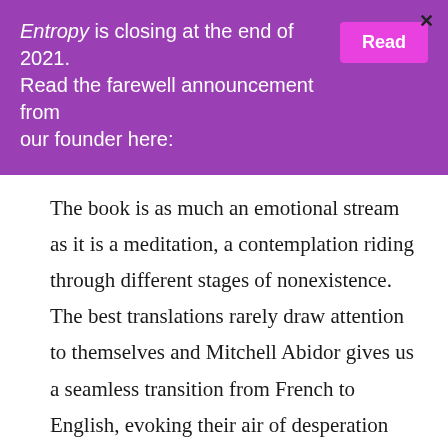Entropy is closing at the end of 2021. Read the farewell announcement from our founder here: [Read]
The book is as much an emotional stream as it is a meditation, a contemplation riding through different stages of nonexistence. The best translations rarely draw attention to themselves and Mitchell Abidor gives us a seamless transition from French to English, evoking their air of desperation and guilt as Changarnier convicts himself of an atrocity that he may or may not be responsible for. Along the way, they meet